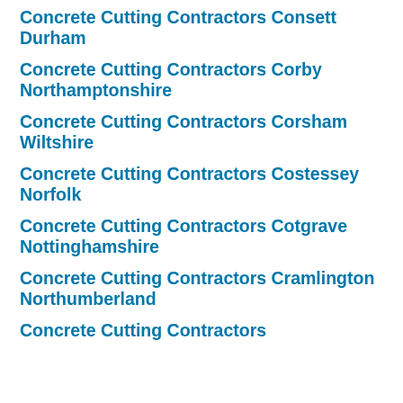Concrete Cutting Contractors Consett Durham
Concrete Cutting Contractors Corby Northamptonshire
Concrete Cutting Contractors Corsham Wiltshire
Concrete Cutting Contractors Costessey Norfolk
Concrete Cutting Contractors Cotgrave Nottinghamshire
Concrete Cutting Contractors Cramlington Northumberland
Concrete Cutting Contractors Cranleigh...